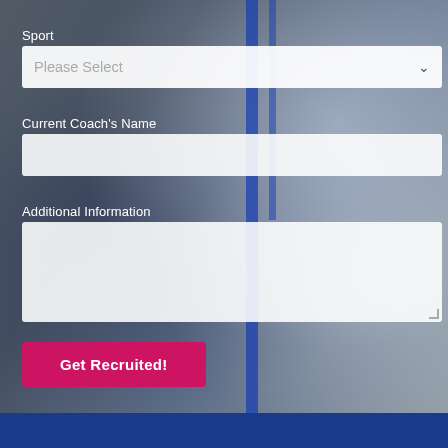Sport
[Figure (screenshot): Dropdown select field with placeholder text 'Please Select' and a chevron arrow on the right]
Current Coach's Name
[Figure (screenshot): Empty text input field]
Additional Information
[Figure (screenshot): Empty textarea input field with resize handle]
Get Recruited!